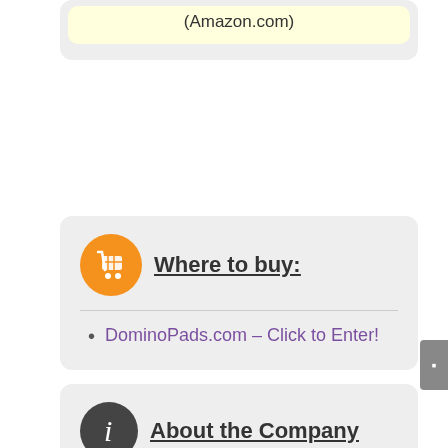(Amazon.com)
Where to buy:
DominoPads.com – Click to Enter!
About the Company